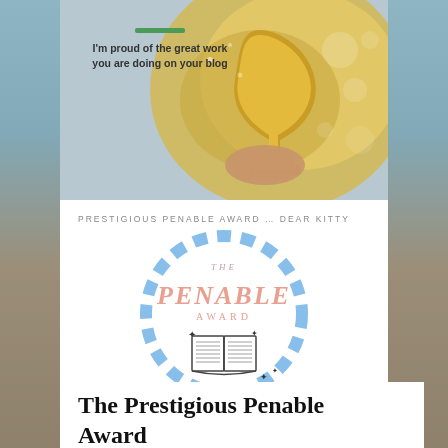[Figure (photo): Top banner with golden trophy being held by a hand, with bokeh light effects. Green bar accent and text overlay.]
I'm proud of the great work you are doing on your blog
PRESTIGIOUS PENABLE AWARD … DEAR KITTY
[Figure (logo): The Penable Award logo: a dashed blue circular rope border containing the text 'THE PENABLE AWARD' in salmon/pink letters, with an open book illustration and sparkle stars below.]
The Prestigious Penable Award